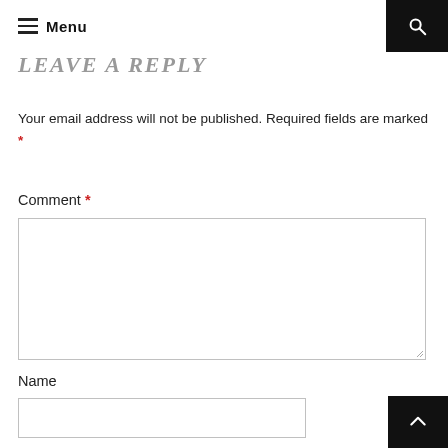Menu
LEAVE A REPLY
Your email address will not be published. Required fields are marked *
Comment *
Name